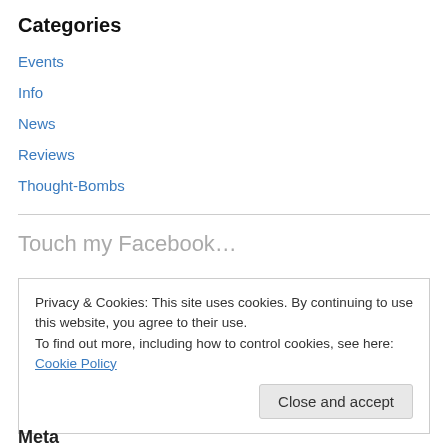Categories
Events
Info
News
Reviews
Thought-Bombs
Touch my Facebook…
Privacy & Cookies: This site uses cookies. By continuing to use this website, you agree to their use. To find out more, including how to control cookies, see here: Cookie Policy
Close and accept
Meta